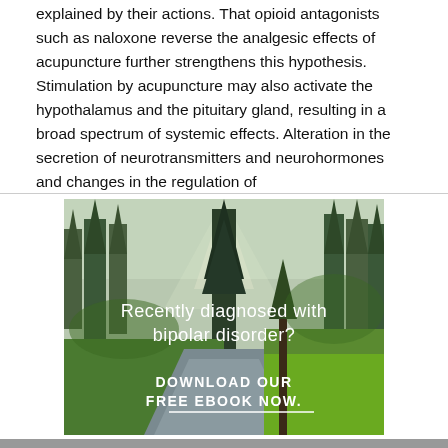explained by their actions. That opioid antagonists such as naloxone reverse the analgesic effects of acupuncture further strengthens this hypothesis. Stimulation by acupuncture may also activate the hypothalamus and the pituitary gland, resulting in a broad spectrum of systemic effects. Alteration in the secretion of neurotransmitters and neurohormones and changes in the regulation of
[Figure (photo): Advertisement image showing a forest landscape with a river and trees, overlaid with text: 'Recently diagnosed with bipolar disorder? DOWNLOAD OUR FREE EBOOK NOW.' with a horizontal underline beneath the ebook text.]
advertisement